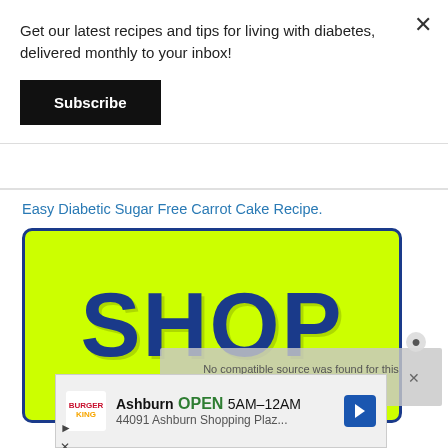Get our latest recipes and tips for living with diabetes, delivered monthly to your inbox!
Subscribe
Easy Diabetic Sugar Free Carrot Cake Recipe.
[Figure (photo): Yellow-green background shop sign with large bold blue text reading SHOP, bordered by a dark blue rounded rectangle border]
No compatible source was found for this media.
[Figure (infographic): Burger King advertisement showing Ashburn location, OPEN 5AM-12AM, 44091 Ashburn Shopping Plaz... with navigation arrow icon]